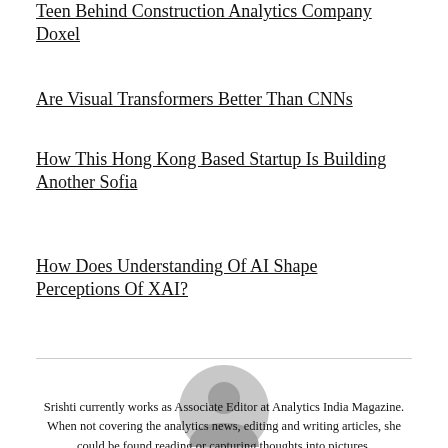Teen Behind Construction Analytics Company Doxel
Are Visual Transformers Better Than CNNs
How This Hong Kong Based Startup Is Building Another Sofia
How Does Understanding Of AI Shape Perceptions Of XAI?
[Figure (illustration): Grey circular user avatar icon]
Srishti currently works as Associate Editor at Analytics India Magazine. When not covering the analytics news, editing and writing articles, she could be found reading or capturing thoughts into pictures.